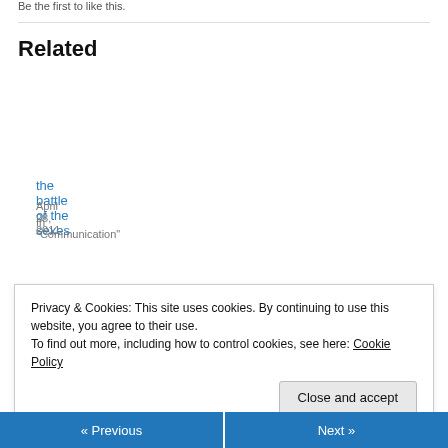Be the first to like this.
Related
the battle of the sexes
April 28, 2011
In "Communication"
all you need is love
December 3, 2010
In "Communication"
putting the period in periodical
February 9, 2011
In "Communication"
Privacy & Cookies: This site uses cookies. By continuing to use this website, you agree to their use.
To find out more, including how to control cookies, see here: Cookie Policy
« Previous   Next »